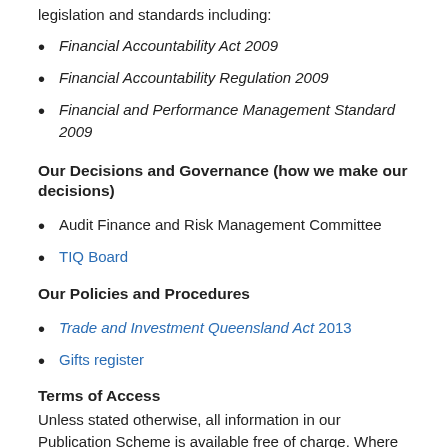legislation and standards including:
Financial Accountability Act 2009
Financial Accountability Regulation 2009
Financial and Performance Management Standard 2009
Our Decisions and Governance (how we make our decisions)
Audit Finance and Risk Management Committee
TIQ Board
Our Policies and Procedures
Trade and Investment Queensland Act 2013
Gifts register
Terms of Access
Unless stated otherwise, all information in our Publication Scheme is available free of charge. Where possible,